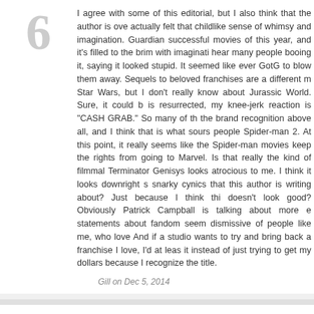I agree with some of this editorial, but I also think that the author is over actually felt that childlike sense of whimsy and imagination. Guardian successful movies of this year, and it's filled to the brim with imaginati hear many people booing it, saying it looked stupid. It seemed like ever GotG to blow them away. Sequels to beloved franchises are a different m Star Wars, but I don't really know about Jurassic World. Sure, it could b is resurrected, my knee-jerk reaction is "CASH GRAB." So many of th the brand recognition above all, and I think that is what sours people Spider-man 2. At this point, it really seems like the Spider-man movies keep the rights from going to Marvel. Is that really the kind of filmmal Terminator Genisys looks atrocious to me. I think it looks downright s snarky cynics that this author is writing about? Just because I think thi doesn't look good? Obviously Patrick Campball is talking about more e statements about fandom seem dismissive of people like me, who love And if a studio wants to try and bring back a franchise I love, I'd at leas it instead of just trying to get my dollars because I recognize the title.
Gill on Dec 5, 2014
So true about Guardians of The Galaxy. I think people were CURIOU didn't have much to go on as far as dissing it. I for one was psyched t Rocket Racoon. I guess people tend to diss things they OWN (or they th familiar with. Gotg was too weird and unknown for there to be many nay
TheOct8pus on Dec 5, 2014